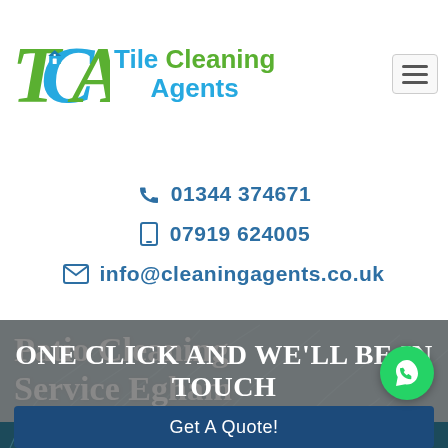[Figure (logo): Tile Cleaning Agents logo with TCA monogram in green and blue, with house icon]
01344 374671
07919 624005
info@cleaningagents.co.uk
Patio Cleaning Service Egham
One click and we'll be in touch
Get A Quote!